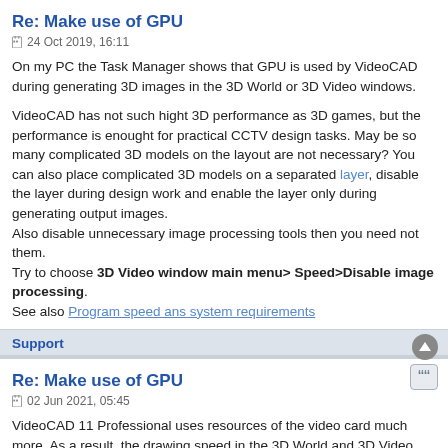Re: Make use of GPU
24 Oct 2019, 16:11
On my PC the Task Manager shows that GPU is used by VideoCAD during generating 3D images in the 3D World or 3D Video windows.
VideoCAD has not such hight 3D performance as 3D games, but the performance is enought for practical CCTV design tasks. May be so many complicated 3D models on the layout are not necessary? You can also place complicated 3D models on a separated layer, disable the layer during design work and enable the layer only during generating output images.
Also disable unnecessary image processing tools then you need not them.
Try to choose 3D Video window main menu> Speed>Disable image processing.
See also Program speed ans system requirements
Support
Re: Make use of GPU
02 Jun 2021, 05:45
VideoCAD 11 Professional uses resources of the video card much more. As a result, the drawing speed in the 3D World and 3D Video windows